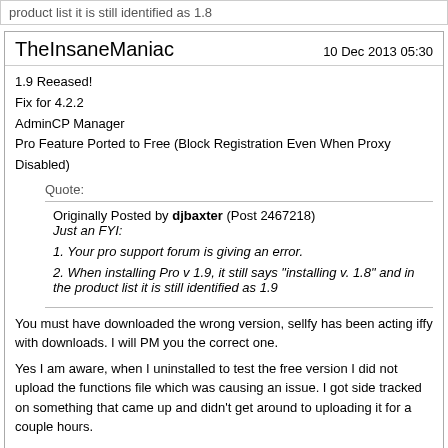product list it is still identified as 1.8
TheInsaneManiac   10 Dec 2013 05:30
1.9 Reeased!
Fix for 4.2.2
AdminCP Manager
Pro Feature Ported to Free (Block Registration Even When Proxy Disabled)
Quote: Originally Posted by djbaxter (Post 2467218) Just an FYI:
1. Your pro support forum is giving an error.
2. When installing Pro v 1.9, it still says "installing v. 1.8" and in the product list it is still identified as 1.9
You must have downloaded the wrong version, sellfy has been acting iffy with downloads. I will PM you the correct one.
Yes I am aware, when I uninstalled to test the free version I did not upload the functions file which was causing an issue. I got side tracked on something that came up and didn't get around to uploading it for a couple hours.